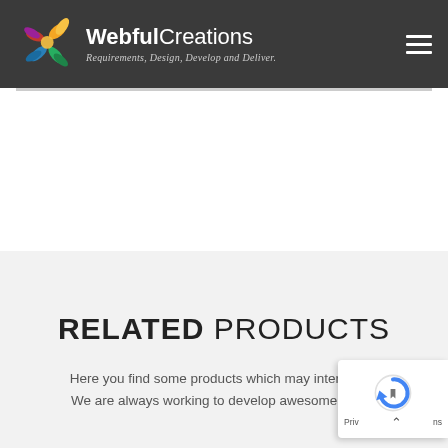WebfulCreations — Requirements, Design, Develop and Deliver.
[Figure (logo): WebfulCreations logo with colorful flower/leaf icon and text 'WebfulCreations — Requirements, Design, Develop and Deliver.']
RELATED PRODUCTS
Here you find some products which may interes… We are always working to develop awesome pr…